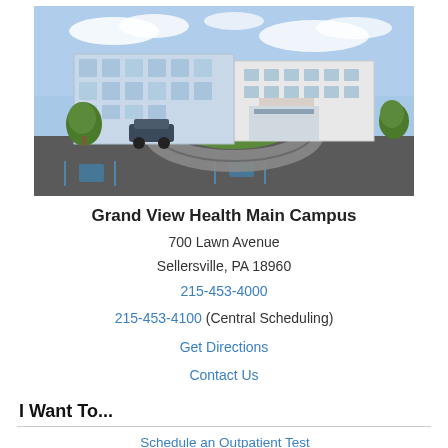[Figure (photo): Exterior photo of Grand View Health Main Campus building with circular driveway, landscaping, and blue sky]
Grand View Health Main Campus
700 Lawn Avenue
Sellersville, PA 18960
215-453-4000
215-453-4100 (Central Scheduling)
Get Directions
Contact Us
I Want To...
Schedule an Outpatient Test